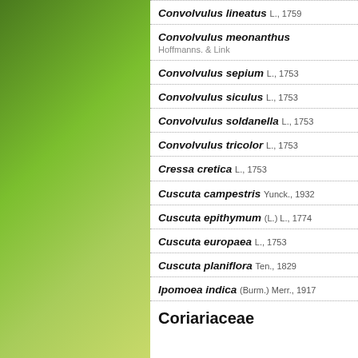Convolvulus lineatus L., 1759
Convolvulus meonanthus Hoffmanns. & Link
Convolvulus sepium L., 1753
Convolvulus siculus L., 1753
Convolvulus soldanella L., 1753
Convolvulus tricolor L., 1753
Cressa cretica L., 1753
Cuscuta campestris Yunck., 1932
Cuscuta epithymum (L.) L., 1774
Cuscuta europaea L., 1753
Cuscuta planiflora Ten., 1829
Ipomoea indica (Burm.) Merr., 1917
Coriariaceae